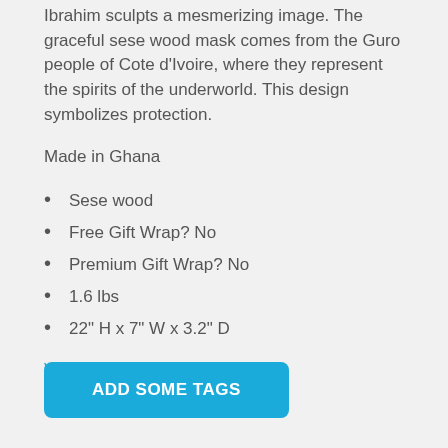Ibrahim sculpts a mesmerizing image. The graceful sese wood mask comes from the Guro people of Cote d'Ivoire, where they represent the spirits of the underworld. This design symbolizes protection.
Made in Ghana
Sese wood
Free Gift Wrap? No
Premium Gift Wrap? No
1.6 lbs
22" H x 7" W x 3.2" D
View in metric units
ADD SOME TAGS